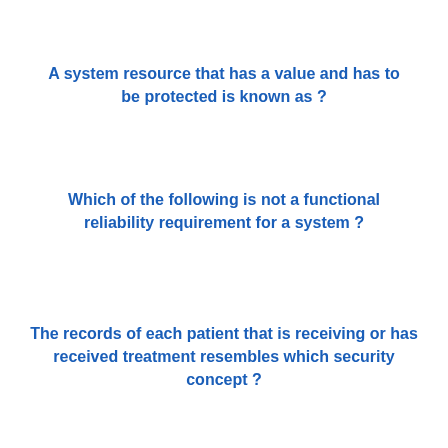A system resource that has a value and has to be protected is known as ?
Which of the following is not a functional reliability requirement for a system ?
The records of each patient that is receiving or has received treatment resembles which security concept ?